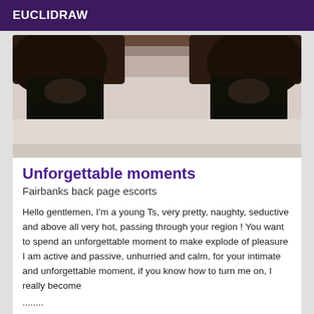EUCLIDRAW
[Figure (photo): Close-up photo of person lying on white bedding, wearing black leather boots/heels, cropped to show lower body on white sheets]
Unforgettable moments
Fairbanks back page escorts
Hello gentlemen, I'm a young Ts, very pretty, naughty, seductive and above all very hot, passing through your region ! You want to spend an unforgettable moment to make explode of pleasure I am active and passive, unhurried and calm, for your intimate and unforgettable moment, if you know how to turn me on, I really become
........
Verified